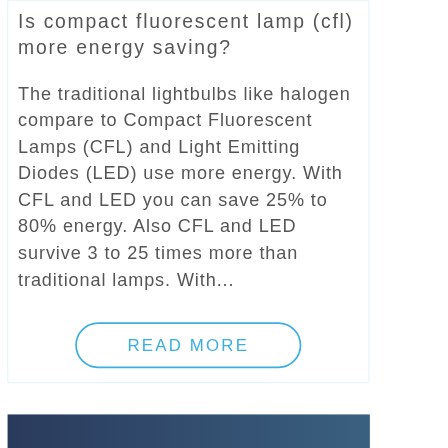Is compact fluorescent lamp (cfl) more energy saving?
The traditional lightbulbs like halogen compare to Compact Fluorescent Lamps (CFL) and Light Emitting Diodes (LED) use more energy. With CFL and LED you can save 25% to 80% energy. Also CFL and LED survive 3 to 25 times more than traditional lamps. With...
READ MORE